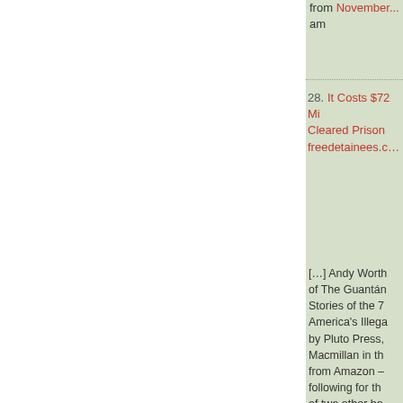from November... am
28. It Costs $72 Mi... Cleared Prison... freedetainees.c...
[…] Andy Worth... of The Guantán... Stories of the 7... America's Illega... by Pluto Press... Macmillan in th... from Amazon –... following for th... of two other bo... Celebration an... The Battle of th... receive new ar... please subscrib... (and I can also... Facebook, Twit... YouTube). Also...